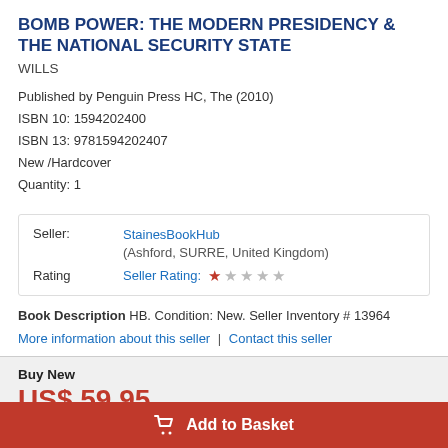BOMB POWER: THE MODERN PRESIDENCY & THE NATIONAL SECURITY STATE
WILLS
Published by Penguin Press HC, The (2010)
ISBN 10: 1594202400
ISBN 13: 9781594202407
New /Hardcover
Quantity: 1
|  |  |
| --- | --- |
| Seller: | StainesBookHub
(Ashford, SURRE, United Kingdom) |
| Rating | Seller Rating: ★☆☆☆☆ |
Book Description HB. Condition: New. Seller Inventory # 13964
More information about this seller | Contact this seller
Buy New
US$ 59.95
Convert currency
Add to Basket